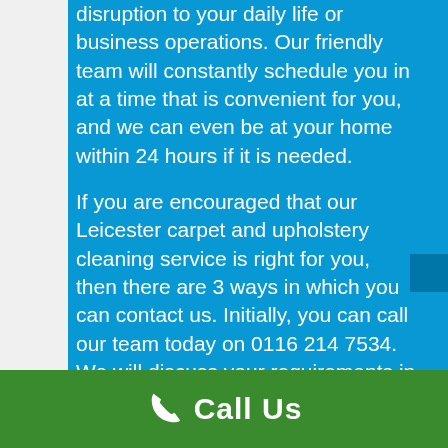disruption to your daily life or business operations. Our friendly team will constantly schedule you in at a time that is convenient for you, and we can even be at your home within 24 hours if it is needed.

If you are encouraged that our Leicester carpet and upholstery cleaning service is right for you, then there are 3 ways in which you can contact us. Initially, you can call our team today on 0116 214 7534. We will discuss your requirements in more detail before supplying you with a quote for our service. If you are happy
Call Us